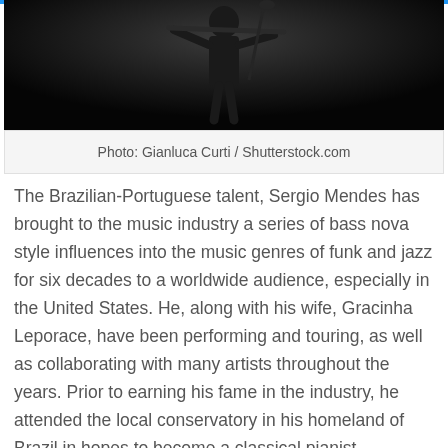[Figure (photo): Black and white photo of a musician playing an instrument against a dark background]
Photo: Gianluca Curti / Shutterstock.com
The Brazilian-Portuguese talent, Sergio Mendes has brought to the music industry a series of bass nova style influences into the music genres of funk and jazz for six decades to a worldwide audience, especially in the United States. He, along with his wife, Gracinha Leporace, have been performing and touring, as well as collaborating with many artists throughout the years. Prior to earning his fame in the industry, he attended the local conservatory in his homeland of Brazil in hopes to become a classical pianist. However, as his interest in jazz grew, he began to play in nightclubs by the late 1950s with a bass-nova, which is a jazz alternative to samba.